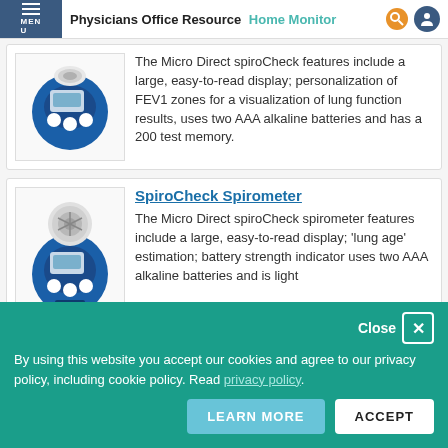Physicians Office Resource Home Monitor
[Figure (photo): Micro Direct spiroCheck device - small blue handheld spirometer with digital display and white mouthpiece attachment, top card]
The Micro Direct spiroCheck features include a large, easy-to-read display; personalization of FEV1 zones for a visualization of lung function results, uses two AAA alkaline batteries and has a 200 test memory.
SpiroCheck Spirometer
[Figure (photo): Micro Direct spiroCheck spirometer - blue handheld device with digital display and round turbine mouthpiece attachment]
The Micro Direct spiroCheck spirometer features include a large, easy-to-read display; 'lung age' estimation; battery strength indicator uses two AAA alkaline batteries and is light
Close
By using this website you accept our cookies and agree to our privacy policy, including cookie policy. Read privacy policy.
LEARN MORE   ACCEPT